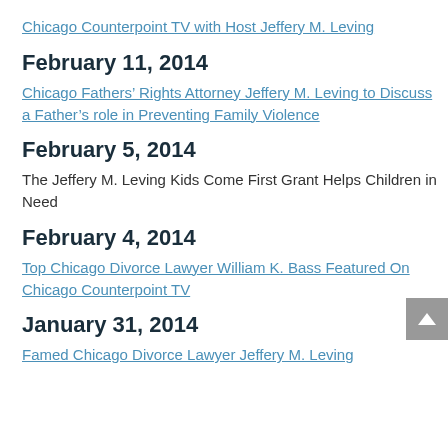Chicago Counterpoint TV with Host Jeffery M. Leving
February 11, 2014
Chicago Fathers' Rights Attorney Jeffery M. Leving to Discuss a Father's role in Preventing Family Violence
February 5, 2014
The Jeffery M. Leving Kids Come First Grant Helps Children in Need
February 4, 2014
Top Chicago Divorce Lawyer William K. Bass Featured On Chicago Counterpoint TV
January 31, 2014
Famed Chicago Divorce Lawyer Jeffery M. Leving